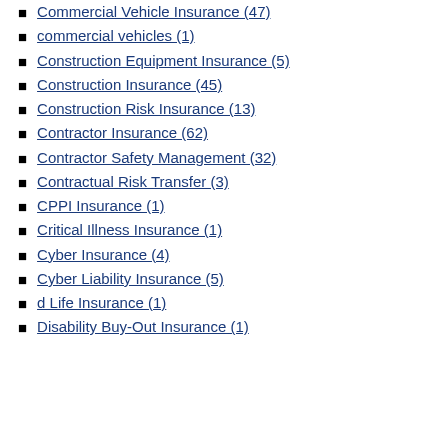Commercial Vehicle Insurance (47)
commercial vehicles (1)
Construction Equipment Insurance (5)
Construction Insurance (45)
Construction Risk Insurance (13)
Contractor Insurance (62)
Contractor Safety Management (32)
Contractual Risk Transfer (3)
CPPI Insurance (1)
Critical Illness Insurance (1)
Cyber Insurance (4)
Cyber Liability Insurance (5)
d Life Insurance (1)
Disability Buy-Out Insurance (1)